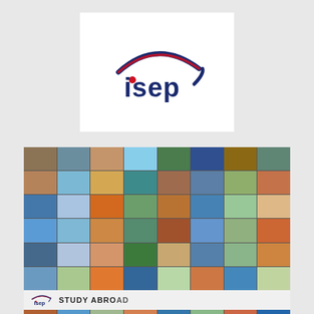[Figure (logo): ISEP (International Student Exchange Programs) logo: stylized arc/swoosh in navy and red above the lowercase text 'isep' in navy blue, with a red dot on the 'i', on a white background]
[Figure (photo): A collage of many small travel/study abroad photographs arranged in a grid pattern, showing various international destinations, students, landscapes, and cultural scenes]
isep STUDY ABROAD